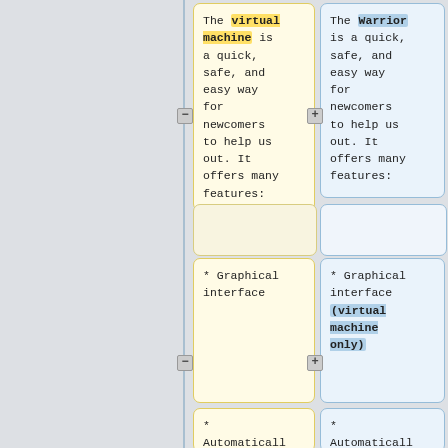The virtual machine is a quick, safe, and easy way for newcomers to help us out. It offers many features:
The Warrior is a quick, safe, and easy way for newcomers to help us out. It offers many features:
* Graphical interface
* Graphical interface (virtual machine only)
* Automaticall
* Automaticall